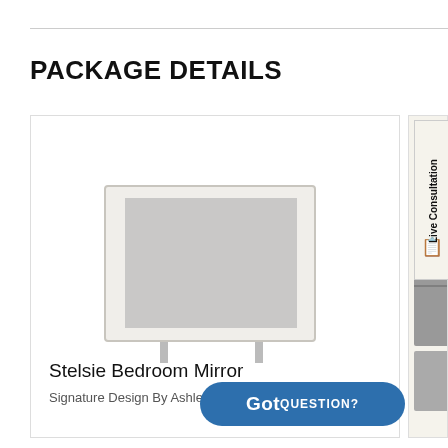PACKAGE DETAILS
[Figure (photo): Stelsie Bedroom Mirror product photo showing a white-framed rectangular mirror with grey reflective surface and small chrome legs]
Stelsie Bedroom Mirror
Signature Design By Ashley B258836
[Figure (photo): Partially visible grey furniture piece (Stelsie bedroom item) on right side of page]
[Figure (infographic): Live Consultation vertical tab with icon on right edge of page]
GotQUESTION?